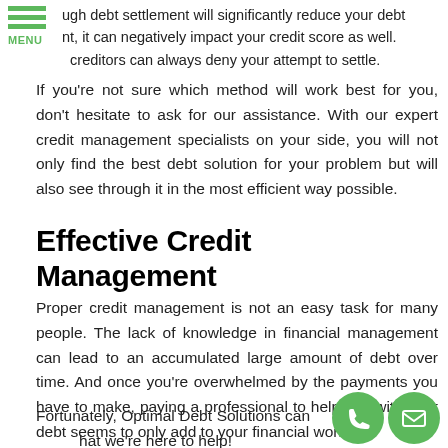ugh debt settlement will significantly reduce your debt
nt, it can negatively impact your credit score as well.
creditors can always deny your attempt to settle.
If you're not sure which method will work best for you, don't hesitate to ask for our assistance. With our expert credit management specialists on your side, you will not only find the best debt solution for your problem but will also see through it in the most efficient way possible.
Effective Credit Management
Proper credit management is not an easy task for many people. The lack of knowledge in financial management can lead to an accumulated large amount of debt over time. And once you're overwhelmed by the payments you have to make, paying a professional to help you with your debt seems to only add to your financial worries.
Fortunately, Optimal Debt Solutions can help. That's what we're here to help!